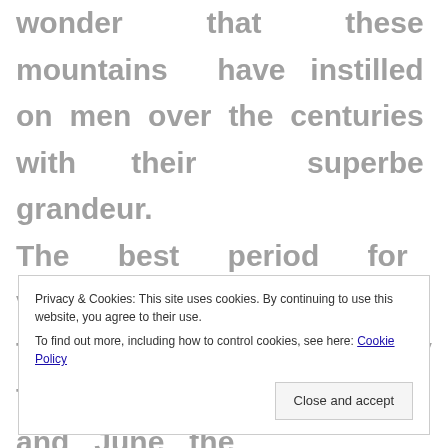wonder that these mountains have instilled on men over the centuries with their superbe grandeur. The best period for visiting and photographing this area is from mid May to mid October. In May and June the
Privacy & Cookies: This site uses cookies. By continuing to use this website, you agree to their use.
To find out more, including how to control cookies, see here: Cookie Policy
Close and accept